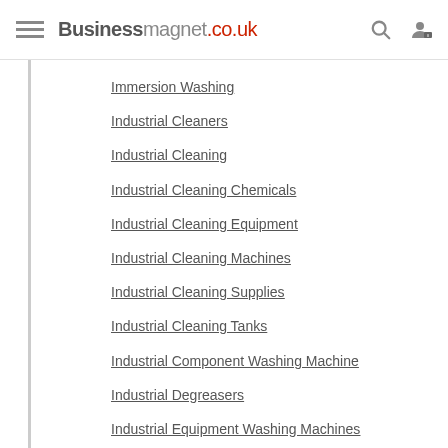Businessmagnet.co.uk
Immersion Washing
Industrial Cleaners
Industrial Cleaning
Industrial Cleaning Chemicals
Industrial Cleaning Equipment
Industrial Cleaning Machines
Industrial Cleaning Supplies
Industrial Cleaning Tanks
Industrial Component Washing Machine
Industrial Degreasers
Industrial Equipment Washing Machines
Industrial Metal Cleaning
Industrial Metal Cleaning Machine
Industrial Parts Washer Baskets
Industrial Parts Washers
Industrial Tunnel Washing Equipment